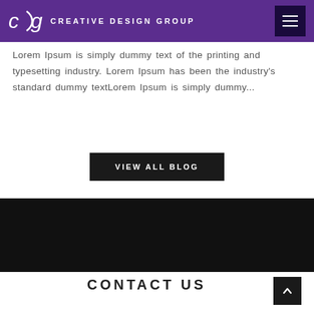Creative Design Group
Lorem Ipsum is simply dummy text of the printing and typesetting industry. Lorem Ipsum has been the industry's standard dummy textLorem Ipsum is simply dummy...
VIEW ALL BLOG
[Figure (other): Black decorative band/section divider]
CONTACT US